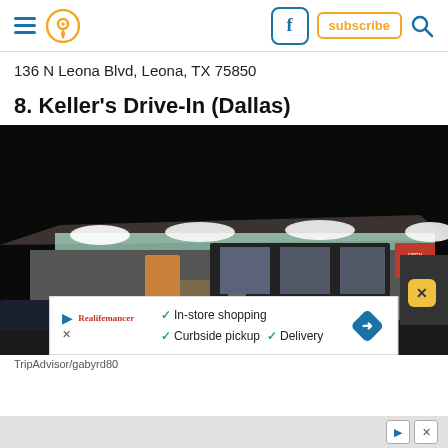Navigation header with hamburger menu, map pin icon, Facebook button, subscribe button, and search icon
136 N Leona Blvd, Leona, TX 75850
8. Keller's Drive-In (Dallas)
[Figure (photo): Nighttime photo of Keller's Drive-In restaurant exterior, a low-slung building with bright overhead lighting, glass windows, stone facade, and signage, with a person walking in the parking lot]
TripAdvisor/gabyrd80